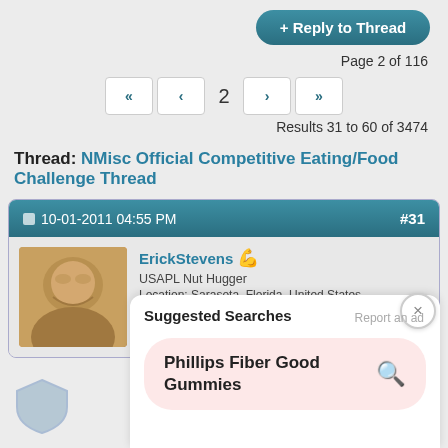[Figure (other): Blue rounded button labeled '+ Reply to Thread']
Page 2 of 116
[Figure (other): Pagination controls: first, previous, page 2, next, last buttons]
Results 31 to 60 of 3474
Thread: NMisc Official Competitive Eating/Food Challenge Thread
10-01-2011 04:55 PM  #31
ErickStevens
USAPL Nut Hugger
Location: Sarasota, Florida, United States
Posts: 24,843
Suggested Searches
Report an ad
Phillips Fiber Good Gummies